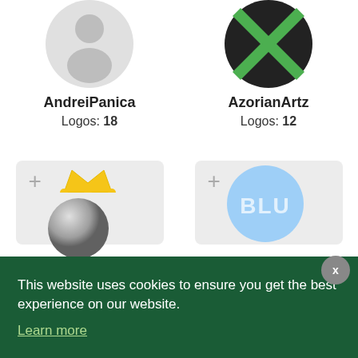[Figure (logo): AndreiPanica user avatar - gray silhouette person icon on light gray circular background]
AndreiPanica
Logos: 18
[Figure (logo): AzorianArtz logo - green X/chevron shape on dark circular background]
AzorianArtz
Logos: 12
[Figure (logo): Partial logo card with + icon and silver ball with crown (partially visible, cut off)]
[Figure (logo): Partial logo card with + icon and BLU text in blue circle (partially visible, cut off)]
This website uses cookies to ensure you get the best experience on our website. Learn more